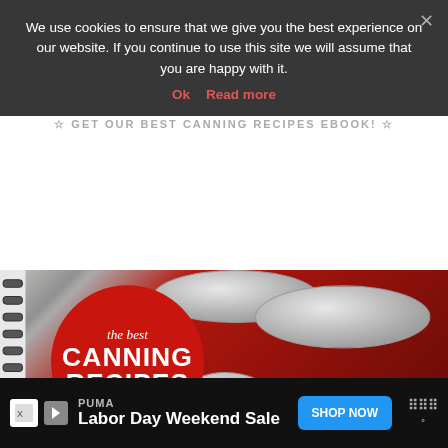We use cookies to ensure that we give you the best experience on our website. If you continue to use this site we will assume that you are happy with it.
Ok   Read more
GET OUR BEST CANNING RECIPES EBOOK!
[Figure (photo): A spiral-bound recipe book cover titled 'the best CANNING RECIPES' with a large red circle on the cover, featuring photos of glass mason jars filled with red and green pickled vegetables.]
500
[Figure (other): Advertisement bar at bottom: PUMA brand, Labor Day Weekend Sale, SHOP NOW button]